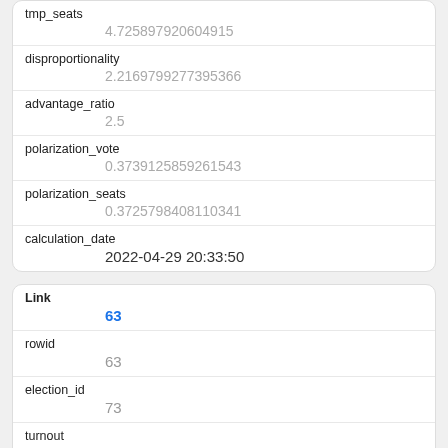| tmp_seats | 4.725897920604915 |
| disproportionality | 2.21697992773953​66 |
| advantage_ratio | 2.5 |
| polarization_vote | 0.3739125859261543 |
| polarization_seats | 0.3725798408110341 |
| calculation_date | 2022-04-29 20:33:50 |
| Link | 63 |
| rowid | 63 |
| election_id | 73 |
| turnout | 85.84 |